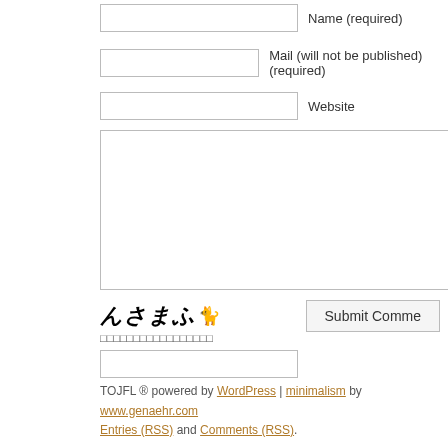Name (required)
Mail (will not be published) (required)
Website
[Figure (other): Comment text area input box]
[Figure (illustration): Captcha logo with Japanese text んさまふ and small illustration]
Submit Comment button
Japanese captcha prompt text (squares/placeholder characters)
Captcha input box
TOJFL ® powered by WordPress | minimalism by www.genaehr.com Entries (RSS) and Comments (RSS).